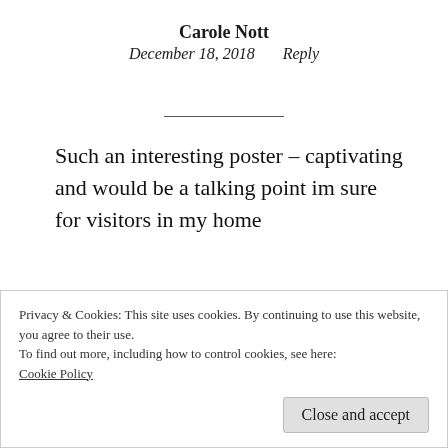Carole Nott
December 18, 2018    Reply
Such an interesting poster – captivating and would be a talking point im sure for visitors in my home
★ Like
Privacy & Cookies: This site uses cookies. By continuing to use this website, you agree to their use.
To find out more, including how to control cookies, see here:
Cookie Policy
Close and accept